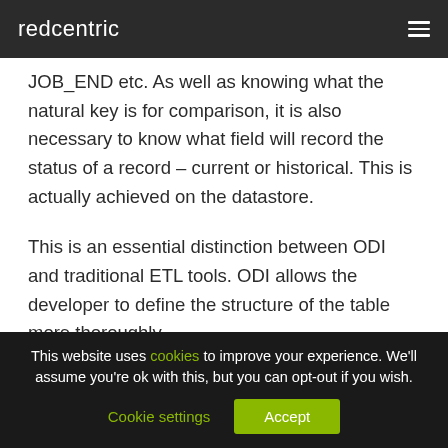redcentric
JOB_END etc. As well as knowing what the natural key is for comparison, it is also necessary to know what field will record the status of a record – current or historical. This is actually achieved on the datastore.
This is an essential distinction between ODI and traditional ETL tools. ODI allows the developer to define the structure of the table more thoroughly,
This website uses cookies to improve your experience. We'll assume you're ok with this, but you can opt-out if you wish.
Cookie settings   Accept